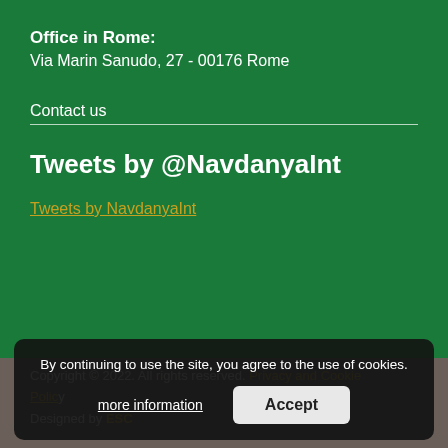Office in Rome:
Via Marin Sanudo, 27 - 00176 Rome
Contact us
Tweets by @NavdanyaInt
Tweets by NavdanyaInt
Copyright © 2022. All rights reserved. Privacy and Cookie Policy
Designed by ESC
By continuing to use the site, you agree to the use of cookies.
more information
Accept